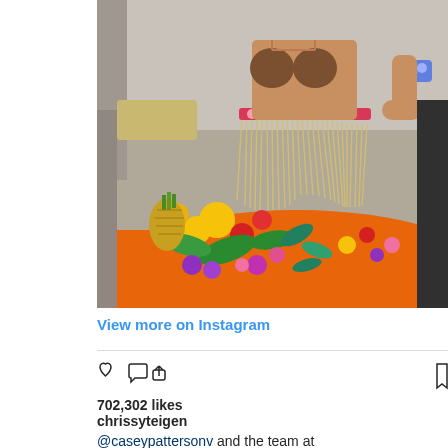[Figure (photo): A person wearing a hula costume with a grass skirt, coconut shell top, and floral accessories. In front is a table with colorful tropical flowers, leis, and a pineapple on an orange cloth.]
View more on Instagram
702,302 likes
chrissyteigen
.@caseypattersonv and the team at